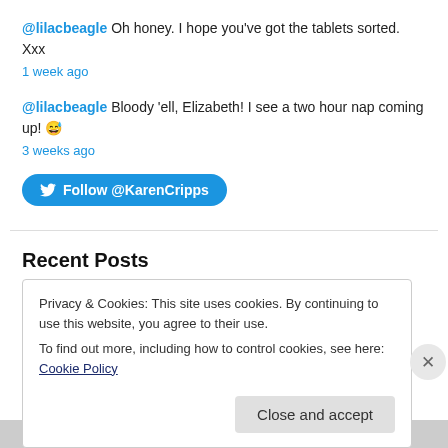@lilacbeagle Oh honey. I hope you've got the tablets sorted. Xxx
1 week ago
@lilacbeagle Bloody 'ell, Elizabeth! I see a two hour nap coming up! 😅
3 weeks ago
[Figure (other): Twitter Follow @KarenCripps button]
Recent Posts
There, I said it.
Take that bitch down…
Privacy & Cookies: This site uses cookies. By continuing to use this website, you agree to their use.
To find out more, including how to control cookies, see here: Cookie Policy
Close and accept